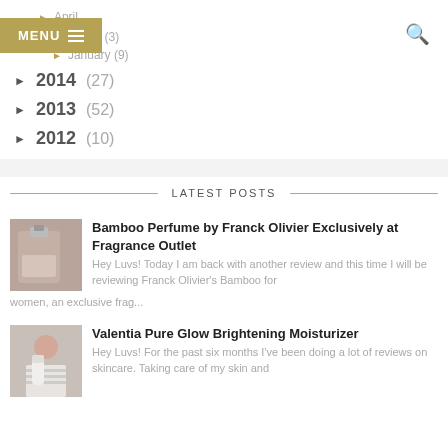March (3)
January (9)
2014 (27)
2013 (52)
2012 (10)
LATEST POSTS
Bamboo Perfume by Franck Olivier Exclusively at Fragrance Outlet
Hey Luvs! Today I am back with another review and this time I will be reviewing Franck Olivier's Bamboo for women, an exclusive frag...
Valentia Pure Glow Brightening Moisturizer
Hey Luvs! For the past six months I've been doing a lot of reviews on skincare. Taking care of my skin and